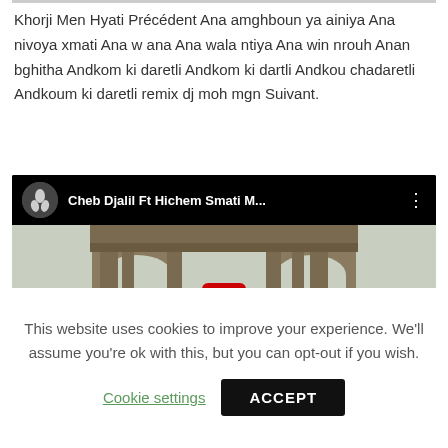Khorji Men Hyati Précédent Ana amghboun ya ainiya Ana nivoya xmati Ana w ana Ana wala ntiya Ana win nrouh Anan bghitha Andkom ki daretli Andkom ki dartli Andkou chadaretli Andkoum ki daretli remix dj moh mgn Suivant.
[Figure (screenshot): YouTube video embed showing 'Cheb Djalil Ft Hichem Smati M...' with a black header bar, channel icon, video title, and a thumbnail image of a Roman arch with Arabic text overlay in red and a YouTube play button.]
This website uses cookies to improve your experience. We'll assume you're ok with this, but you can opt-out if you wish.
Cookie settings   ACCEPT